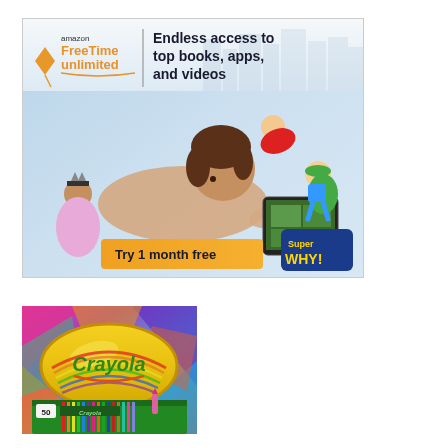[Figure (illustration): Amazon FreeTime Unlimited advertisement showing a child using a tablet with cartoon characters. Orange button reads 'Try 1 month free'. Top text: 'Endless access to top books, apps, and videos'.]
[Figure (photo): Crayola crayon box product image showing the Crayola logo on yellow oval background with colorful geometric shapes. Shows '50' count label and crayon box.]